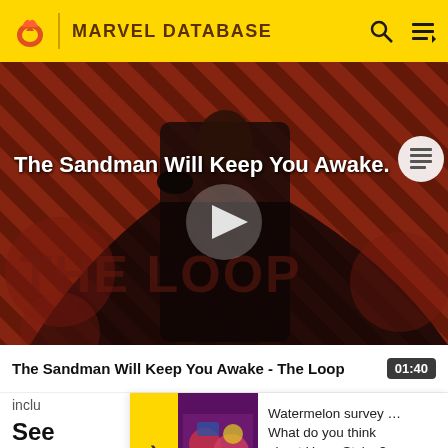MARVEL DATABASE
[Figure (screenshot): Video thumbnail for 'The Sandman Will Keep You Awake - The Loop' showing a dark-robed figure against a diagonal striped red/dark background. 'THE LOOP' watermark text visible. Play button in center. Small article icon top right.]
The Sandman Will Keep You Awake - The Loop 01:40
inclu
[Figure (infographic): Survey advertisement banner with purple/pink background showing icons, arrow, and survey call to action for Harry Styles survey]
Watermelon survey … What do you think about Harry Styles?
TAKE THE SURVEY HERE
See